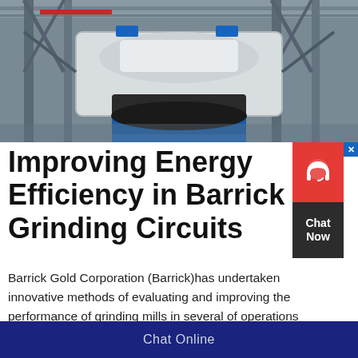[Figure (photo): Industrial grinding mill equipment inside a large facility with steel structural framework overhead, large white machinery visible, blue equipment components, shot from below looking upward.]
Improving Energy Efficiency in Barrick Grinding Circuits
Barrick Gold Corporation (Barrick)has undertaken innovative methods of evaluating and improving the performance of grinding mills in several of operations around the world its The results have
Chat Online